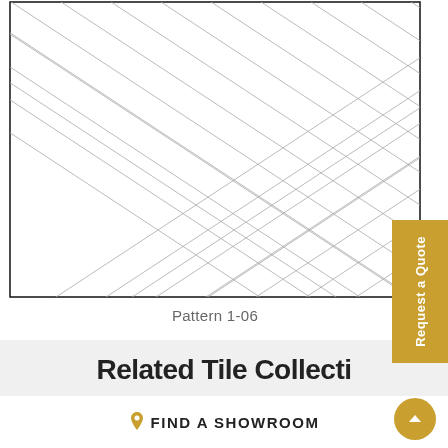[Figure (illustration): Tile pattern diagram showing diagonal diamond/rhombus grid layout (Pattern 1-06), drawn with thin gray lines on white background, bordered by a black rectangle frame.]
Pattern 1-06
Related Tile Collections
FIND A SHOWROOM